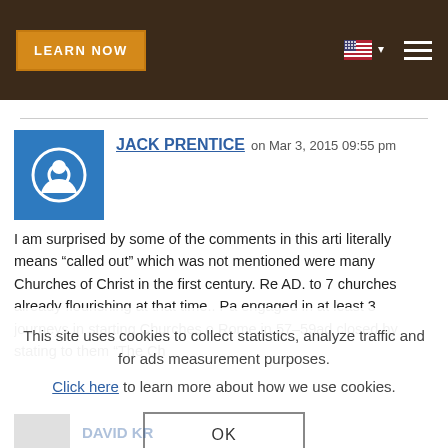LEARN NOW
JACK PRENTICE on Mar 3, 2015 09:55 pm

I am surprised by some of the comments in this arti... literally means “called out” which was not mentioned... were many Churches of Christ in the first century. Re... AD. to 7 churches already flourishing at that time.. Pa... engaged in at least 3 journeys in starting Churches o... Rome in 57-59ad closed by stating to them “The Ch...
This site uses cookies to collect statistics, analyze traffic and for ads measurement purposes.
Click here to learn more about how we use cookies.
OK
DAVID KR...